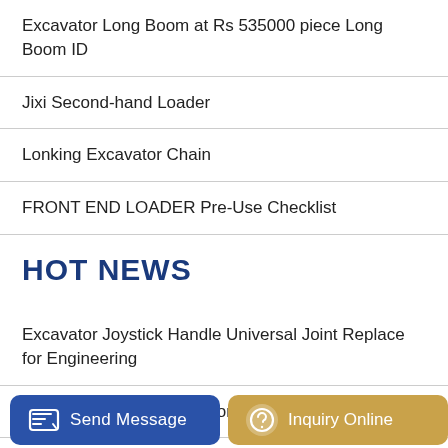Excavator Long Boom at Rs 535000 piece Long Boom ID
Jixi Second-hand Loader
Lonking Excavator Chain
FRONT END LOADER Pre-Use Checklist
HOT NEWS
Excavator Joystick Handle Universal Joint Replace for Engineering
Zaozhuang Peoples Network Second-hand Loader
...vato...